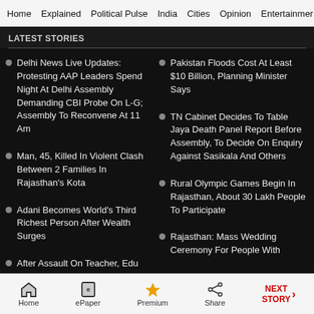Home   Explained   Political Pulse   India   Cities   Opinion   Entertainment
LATEST STORIES
Delhi News Live Updates: Protesting AAP Leaders Spend Night At Delhi Assembly Demanding CBI Probe On L-G; Assembly To Reconvene At 11 Am
Pakistan Floods Cost At Least $10 Billion, Planning Minister Says
Man, 45, Killed In Violent Clash Between 2 Families In Rajasthan's Kota
TN Cabinet Decides To Table Jaya Death Panel Report Before Assembly, To Decide On Enquiry Against Sasikala And Others
Adani Becomes World's Third Richest Person After Wealth Surges
Rural Olympic Games Begin In Rajasthan, About 30 Lakh People To Participate
After Assault On Teacher, Edu Dept Ask Delhi Govt Schools To
Rajasthan: Mass Wedding Ceremony For People With
Home   ePaper   Premium   Share   NEXT STORY →